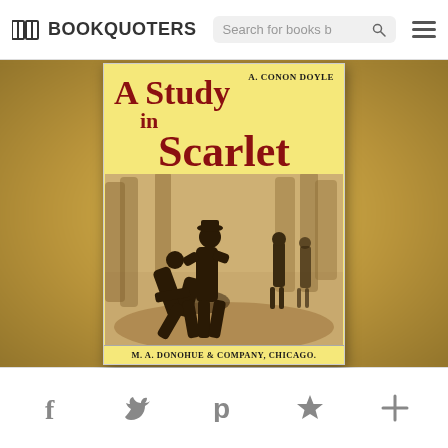BOOKQUOTERS — Search for books | [search icon] [hamburger menu]
[Figure (illustration): Book cover of 'A Study in Scarlet' by A. Conan Doyle, published by M. A. Donohue & Company, Chicago. Yellow cover with dark red title text. Illustration shows two men fighting in a wooded outdoor scene, with two observers in background. Sepia-toned illustration.]
f [Facebook] | [Twitter bird] | p [Pinterest] | ★ [Bookmark] | + [Add]